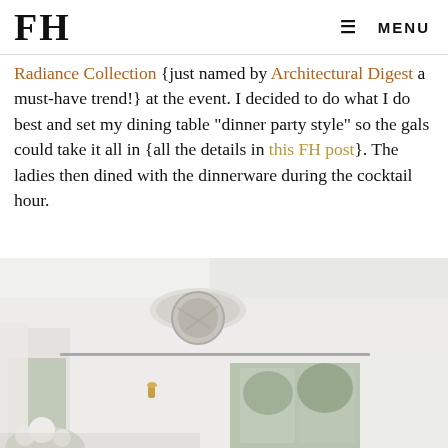FH  ≡ MENU
Radiance Collection {just named by Architectural Digest a must-have trend!} at the event. I decided to do what I do best and set my dining table "dinner party style" so the gals could take it all in {all the details in this FH post}. The ladies then dined with the dinnerware during the cocktail hour.
[Figure (photo): Interior photo of a bright white dining room showing a ceiling fan with a drum shade, white curtains on a rod, windows with trees visible outside, a gold wall sconce, and white flowers at the bottom of the frame.]